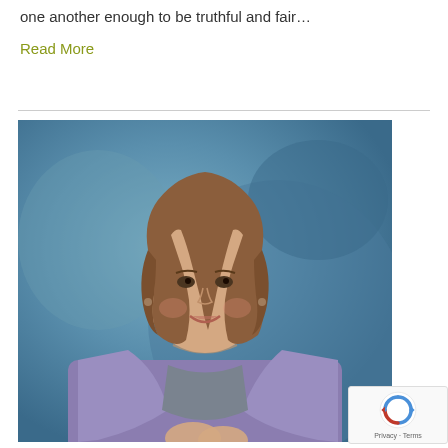one another enough to be truthful and fair…
Read More
[Figure (photo): Professional headshot of a middle-aged woman with a bob haircut, wearing a purple blazer over a grey top, smiling, against a blue-grey studio background.]